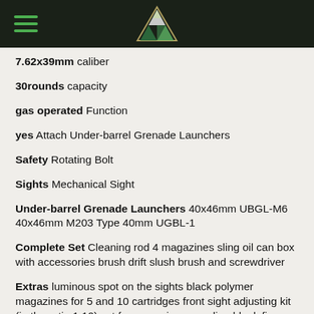Header with hamburger menu and triangle logo
7.62x39mm caliber
30rounds capacity
gas operated Function
yes Attach Under-barrel Grenade Launchers
Safety Rotating Bolt
Sights Mechanical Sight
Under-barrel Grenade Launchers 40x46mm UBGL-M6 40x46mm M203 Type 40mm UGBL-1
Complete Set Cleaning rod 4 magazines sling oil can box with accessories brush drift slush brush and screwdriver
Extras luminous spot on the sights black polymer magazines for 5 and 10 cartridges front sight adjusting kit (in the ratio 1:10) set for magazines coupling blank fire attachment knife scissors laser aim indicator